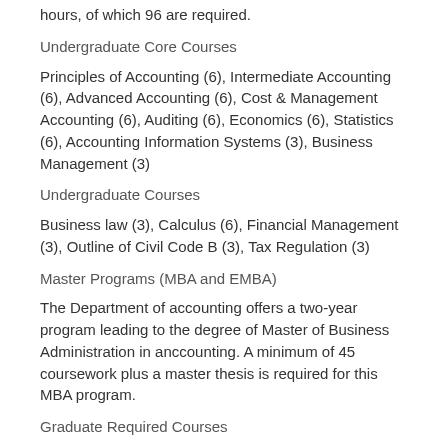hours, of which 96 are required.
Undergraduate Core Courses
Principles of Accounting (6), Intermediate Accounting (6), Advanced Accounting (6), Cost & Management Accounting (6), Auditing (6), Economics (6), Statistics (6), Accounting Information Systems (3), Business Management (3)
Undergraduate Courses
Business law (3), Calculus (6), Financial Management (3), Outline of Civil Code B (3), Tax Regulation (3)
Master Programs (MBA and EMBA)
The Department of accounting offers a two-year program leading to the degree of Master of Business Administration in anccounting. A minimum of 45 coursework plus a master thesis is required for this MBA program.
Graduate Required Courses
Accounting Information Systems Seminar (3), Advanced Auditing (3), Advanced Financial